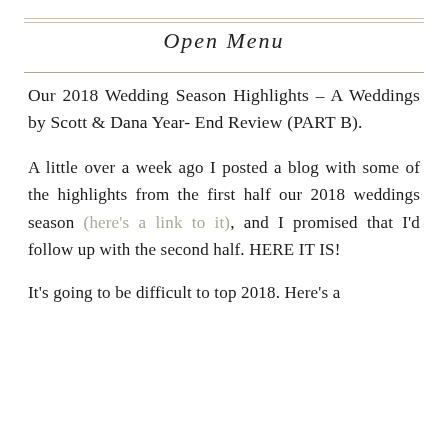Open Menu
Our 2018 Wedding Season Highlights – A Weddings by Scott & Dana Year- End Review (PART B).
A little over a week ago I posted a blog with some of the highlights from the first half our 2018 weddings season (here's a link to it), and I promised that I'd follow up with the second half. HERE IT IS!
It's going to be difficult to top 2018. Here's a